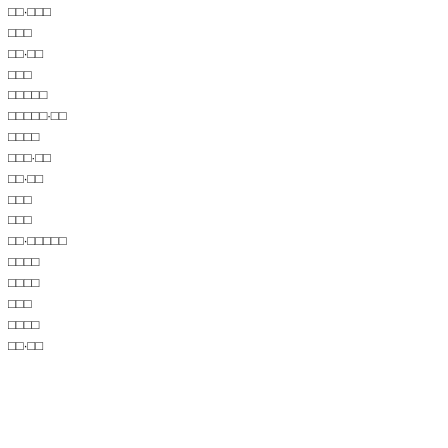□□·□□□
□□□
□□·□□
□□□
□□□□□
□□□□□·□□
□□□□
□□□·□□
□□·□□
□□□
□□□
□□·□□□□□
□□□□
□□□□
□□□
□□□□
□□·□□